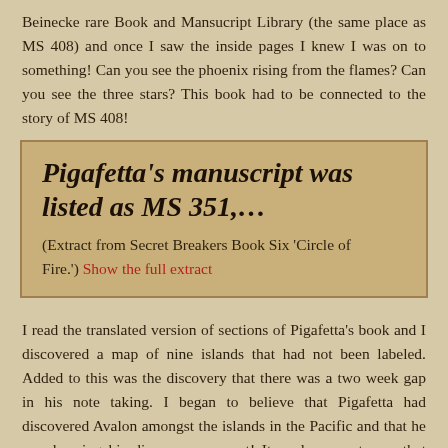Beinecke rare Book and Mansucript Library (the same place as MS 408) and once I saw the inside pages I knew I was on to something! Can you see the phoenix rising from the flames? Can you see the three stars? This book had to be connected to the story of MS 408!
Pigafetta's manuscript was listed as MS 351,…
(Extract from Secret Breakers Book Six 'Circle of Fire.') Show the full extract
I read the translated version of sections of Pigafetta's book and I discovered a map of nine islands that had not been labeled. Added to this was the discovery that there was a two week gap in his note taking. I began to believe that Pigafetta had discovered Avalon amongst the islands in the Pacific and that he was keeping his discovery a secret! It made sense to me that Pigafetta could have written MS 408 in code to ensure that his discovery was kept safe.
For me, Hans of Aachen, Martin de Judicabus and Antonio Pigafetta